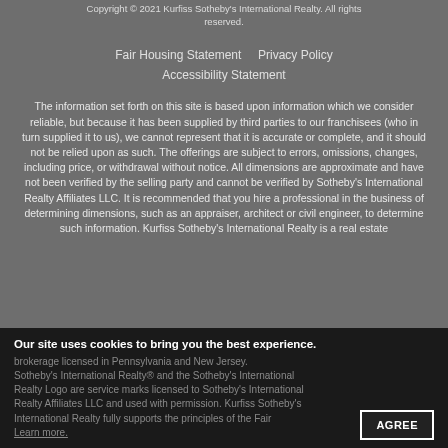Copyright © 2021 Kurfiss Sotheby's International Realty. All rights reserved.
Fair Housing Statement    Privacy Policy    Accessibility Statement
The information set forth on this site is based upon information which we consider reliable, but because it has been supplied by third parties to our franchisees (who in turn supplied it to us), we cannot represent that it is accurate or complete, and it should not be relied upon as such. The offerings are subject to errors, omissions, changes, including price, or withdrawal without notice. All dimensions are approximate and have not been verified by the selling party and cannot be verified by Sotheby's International Realty Affiliates LLC. It is recommended that you hire a professional in the business of determining dimensions, such as an appraiser, architect or civil engineer, to determine such information. Kurfiss Sotheby's International Realty is a real estate brokerage licensed in Pennsylvania and New Jersey. Sotheby's International Realty® and the Sotheby's International Realty Logo are service marks licensed to Sotheby's International Realty Affiliates LLC and used with permission. Kurfiss Sotheby's International Realty fully supports the principles of the Fair Housing Act.
Our site uses cookies to bring you the best experience.
Learn more.